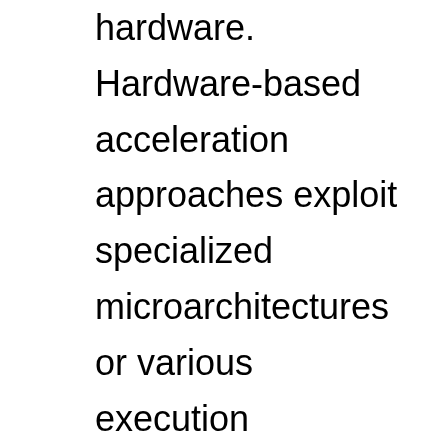hardware. Hardware-based acceleration approaches exploit specialized microarchitectures or various execution paradigms (e.g., processing inside or near memory) along with algorithmic changes, leading to new hardware/software co-designed systems. We conclude with a foreshadowing of